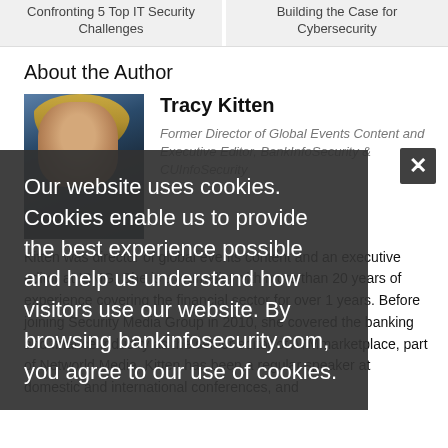Confronting 5 Top IT Security Challenges
Building the Case for Cybersecurity
About the Author
[Figure (photo): Portrait photo of Tracy Kitten, a woman with blonde hair and glasses]
Tracy Kitten
Former Director of Global Events Content and Executive Editor, BankInfoSecurity & CUInfoSecurity
Kitten was director of global events content and an executive editor at ISMG. She is a journalist with more than 20 years of experience covering the financial sector for over 1 years. Before joining Security Media Group in 2010, she covered the banking and finance industry as the senior editor of ATMmarketplace, part of Networld Media. Kitten has been a regular speaker at domestic and international conferences, and
Our website uses cookies. Cookies enable us to provide the best experience possible and help us understand how visitors use our website. By browsing bankinfosecurity.com, you agree to our use of cookies.